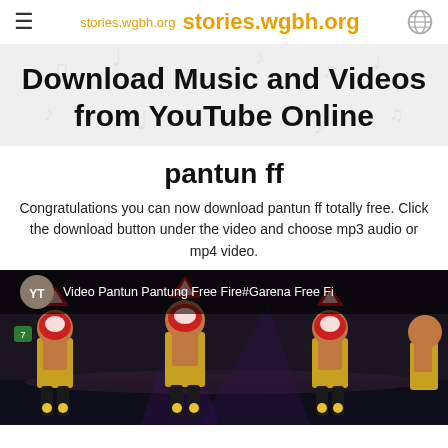stories.wgbh.org  stories.wgbh.org
Download Music and Videos from YouTube Online
pantun ff
Congratulations you can now download pantun ff totally free. Click the download button under the video and choose mp3 audio or mp4 video.
[Figure (screenshot): Video thumbnail showing 'Video Pantun Pantung Free Fire#Garena Free Fi' with YT logo and game characters in black and gold costumes with masks]